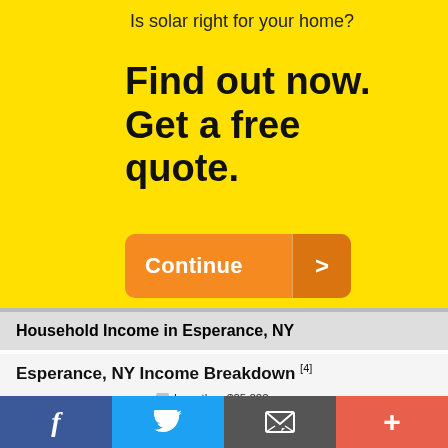Is solar right for your home?
Find out now. Get a free quote.
[Figure (other): Orange 'Continue >' button]
Household Income in Esperance, NY
Esperance, NY Income Breakdown [4]
[Figure (pie-chart): Esperance, NY Income Breakdown]
f  Twitter  Email  +